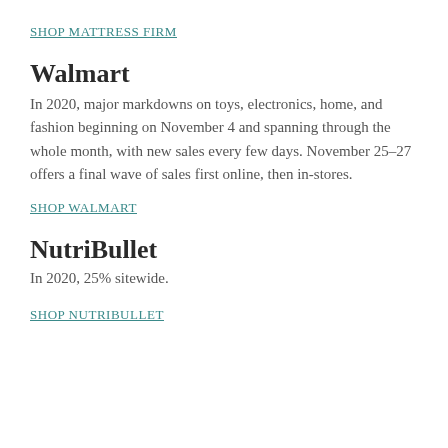SHOP MATTRESS FIRM
Walmart
In 2020, major markdowns on toys, electronics, home, and fashion beginning on November 4 and spanning through the whole month, with new sales every few days. November 25–27 offers a final wave of sales first online, then in-stores.
SHOP WALMART
NutriBullet
In 2020, 25% sitewide.
SHOP NUTRIBULLET